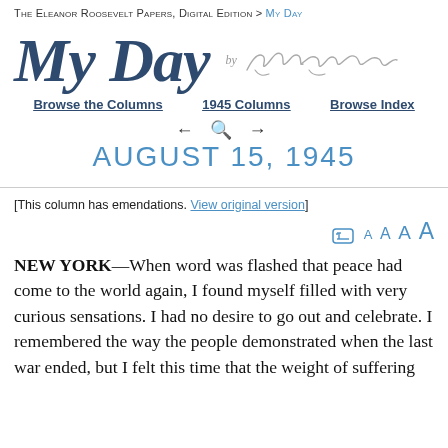The Eleanor Roosevelt Papers, Digital Edition > My Day
My Day by Eleanor Roosevelt
Browse the Columns   1945 Columns   Browse Index
AUGUST 15, 1945
[This column has emendations. View original version]
NEW YORK—When word was flashed that peace had come to the world again, I found myself filled with very curious sensations. I had no desire to go out and celebrate. I remembered the way the people demonstrated when the last war ended, but I felt this time that the weight of suffering